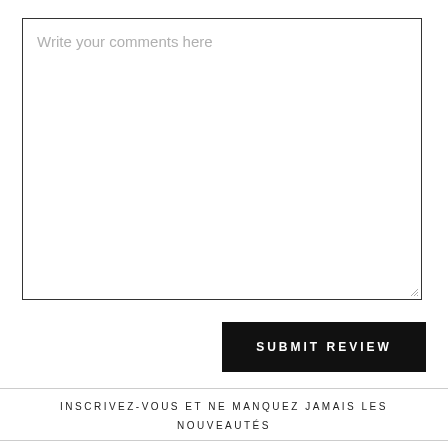[Figure (screenshot): Textarea input box with placeholder text 'Write your comments here' and a resize handle at the bottom right corner]
SUBMIT REVIEW
INSCRIVEZ-VOUS ET NE MANQUEZ JAMAIS LES NOUVEAUTÉS